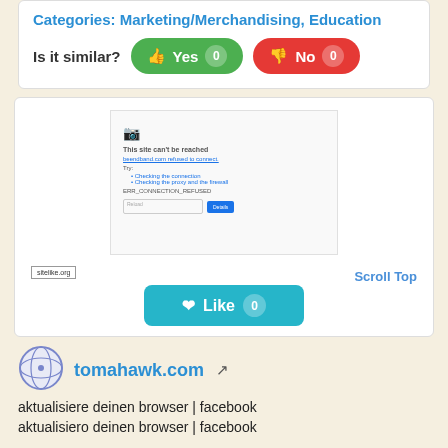Categories: Marketing/Merchandising, Education
Is it similar? Yes 0  No 0
[Figure (screenshot): Screenshot of a browser error page showing 'This site can't be reached' with a sitelike.org watermark, a Like button with count 0, and a Scroll Top link]
tomahawk.com
aktualisiere deinen browser | facebook
aktualisiero deinen browser | facebook